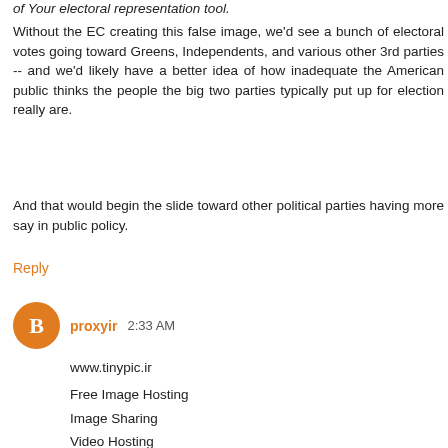Without the EC creating this false image, we'd see a bunch of electoral votes going toward Greens, Independents, and various other 3rd parties -- and we'd likely have a better idea of how inadequate the American public thinks the people the big two parties typically put up for election really are.
And that would begin the slide toward other political parties having more say in public policy.
Reply
proxyir 2:33 AM
www.tinypic.ir
Free Image Hosting
Image Sharing
Video Hosting
File And Image Hosting
File And Image Sharing